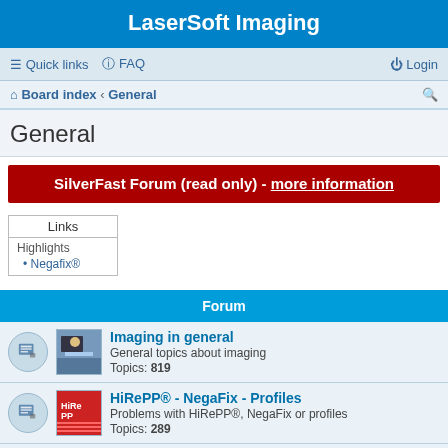LaserSoft Imaging
Quick links  FAQ  Login
Board index › General
General
SilverFast Forum (read only) - more information
| Links |
| --- |
| Highlights |
| • Negafix® |
Forum
Imaging in general
General topics about imaging
Topics: 819
HiRePP® - NegaFix - Profiles
Problems with HiRePP®, NegaFix or profiles
Topics: 289
Installation Problems
Problems with installing SilverFast
Topics: 624
Tips & Tricks
Share your favourite ones
Moderator: LSI_Ketelhohn